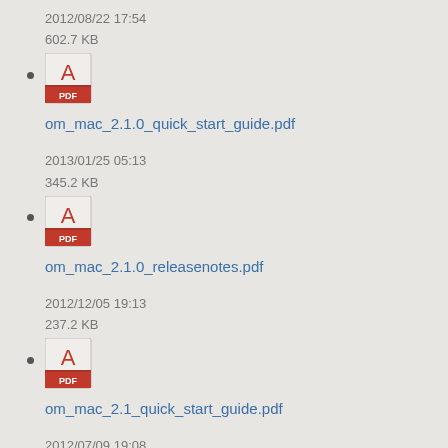2012/08/22 17:54
602.7 KB
om_mac_2.1.0_quick_start_guide.pdf
2013/01/25 05:13
345.2 KB
om_mac_2.1.0_releasenotes.pdf
2012/12/05 19:13
237.2 KB
om_mac_2.1_quick_start_guide.pdf
2012/07/09 19:08
636.6 KB